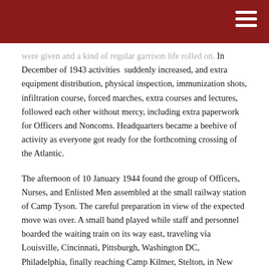were given and a kind of regular garrison life rolled on. In December of 1943 activities suddenly increased, and extra equipment distribution, physical inspection, immunization shots, infiltration course, forced marches, extra courses and lectures, followed each other without mercy, including extra paperwork for Officers and Noncoms. Headquarters became a beehive of activity as everyone got ready for the forthcoming crossing of the Atlantic.
The afternoon of 10 January 1944 found the group of Officers, Nurses, and Enlisted Men assembled at the small railway station of Camp Tyson. The careful preparation in view of the expected move was over. A small band played while staff and personnel boarded the waiting train on its way east, traveling via Louisville, Cincinnati, Pittsburgh, Washington DC, Philadelphia, finally reaching Camp Kilmer, Stelton, in New Jersey, the final Staging Area for the New York Port of Embarkation, on 14 January.